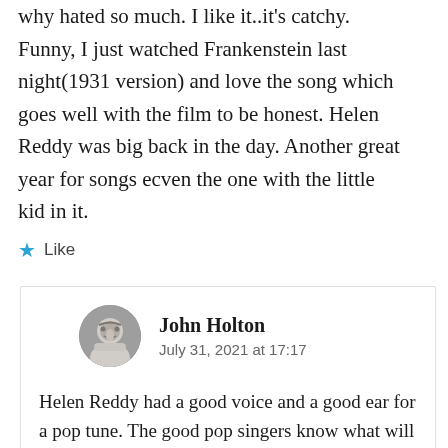why hated so much. I like it..it's catchy. Funny, I just watched Frankenstein last night(1931 version) and love the song which goes well with the film to be honest. Helen Reddy was big back in the day. Another great year for songs ecven the one with the little kid in it.
Like
John Holton
July 31, 2021 at 17:17
Helen Reddy had a good voice and a good ear for a pop tune. The good pop singers know what will work with